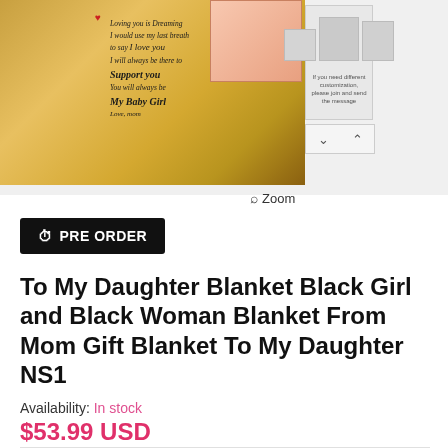[Figure (photo): Product photo of a blanket featuring a Black mother and daughter illustration with handwritten-style text reading 'Loving you is Dreaming, I would use my last breath to say I love you, I will always be there to Support you, You will always be My Baby Girl, Love, mom'. Thumbnail images on the right side with navigation arrows. A customization note reads 'If you need different customization, please join and send the message'.]
Zoom
PRE ORDER
To My Daughter Blanket Black Girl and Black Woman Blanket From Mom Gift Blanket To My Daughter NS1
Availability: In stock
$53.99 USD